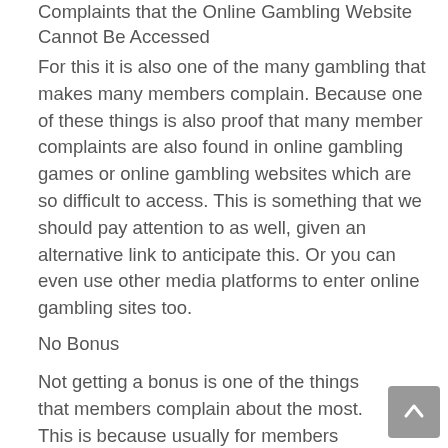Complaints that the Online Gambling Website Cannot Be Accessed
For this it is also one of the many gambling that makes many members complain. Because one of these things is also proof that many member complaints are also found in online gambling games or online gambling websites which are so difficult to access. This is something that we should pay attention to as well, given an alternative link to anticipate this. Or you can even use other media platforms to enter online gambling sites too.
No Bonus
Not getting a bonus is one of the things that members complain about the most. This is because usually for members who have bet a lot and have lost a lot in gambling, surely they will also have the opportunity to be able to play gambling again without spending any capital. For this reason, this bonus is given to members who incidentally are in return for playing on the bookies